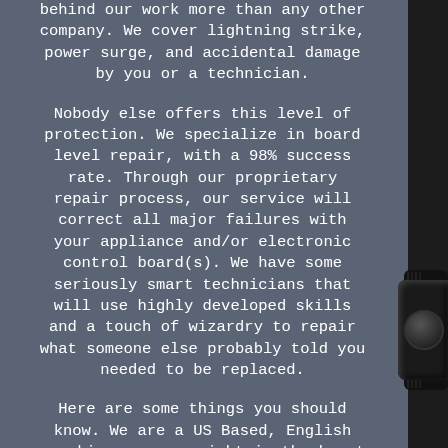behind our work more than any other company. We cover lightning strike, power surge, and accidental damage by you or a technician.

Nobody else offers this level of protection. We specialize in board level repair, with a 98% success rate. Through our proprietary repair process, our service will correct all major failures with your appliance and/or electronic control board(s). We have some seriously smart technicians that will use highly developed skills and a touch of wizardry to repair what someone else probably told you needed to be replaced.

Here are some things you should know. We are a US Based, English speaking company right in the heart of America in Lenexa, Kansas. Our success rate is about 98%. If a
[Figure (photo): Black electronic device knob/dial on the right side of the image, set against a dark background.]